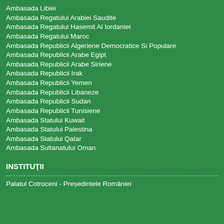Ambasada Libiei
Ambasada Regatului Arabiei Saudite
Ambasada Regatului Hasemit Al Iordaniei
Ambasada Regatului Maroc
Ambasada Republicii Algeriene Democratice Si Populare
Ambasada Republicii Arabe Egipt
Ambasada Republicii Arabe Siriene
Ambasada Republicii Irak
Ambasada Republicii Yemen
Ambasada Republicii Libaneze
Ambasada Republicii Sudan
Ambasada Republicii Tunisiene
Ambasada Statului Kuwait
Ambasada Statului Palestina
Ambasada Statului Qatar
Ambasada Sultanatului Oman
INSTITUȚII
Palatul Cotroceni - Președintele României